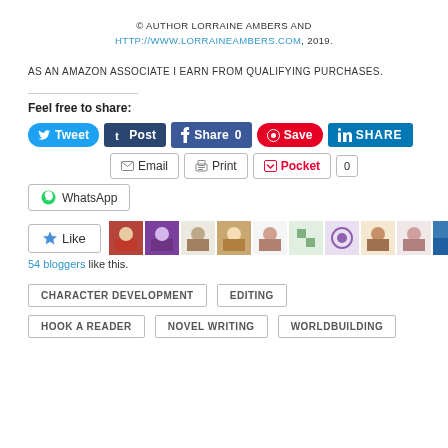© AUTHOR LORRAINE AMBERS AND HTTP://WWW.LORRAINEAMBERS.COM, 2019.
AS AN AMAZON ASSOCIATE I EARN FROM QUALIFYING PURCHASES.
Feel free to share:
[Figure (screenshot): Social share buttons: Tweet, Post, Share 0, Save, SHARE, Email, Print, Pocket (0), WhatsApp]
[Figure (screenshot): Like button with star icon showing 54 bloggers like this, with avatar thumbnails]
54 bloggers like this.
CHARACTER DEVELOPMENT
EDITING
HOOK A READER
NOVEL WRITING
WORLDBUILDING